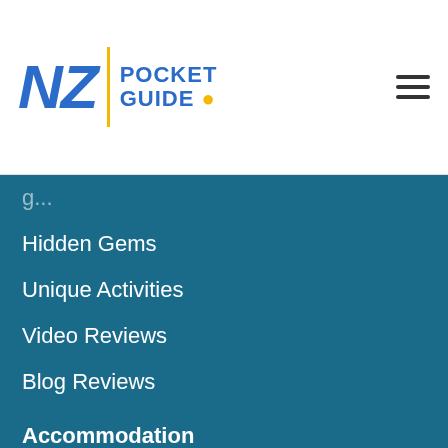[Figure (logo): NZ Pocket Guide logo with blue NZ italic text, yellow vertical divider, blue POCKET GUIDE text with yellow location pin]
Hidden Gems
Unique Activities
Video Reviews
Blog Reviews
Accommodation
Hotels
Motels
Hostels
Camping & Holiday Parks